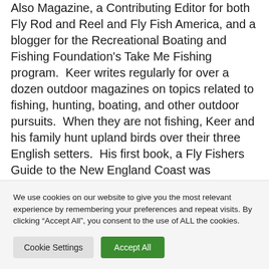Also Magazine, a Contributing Editor for both Fly Rod and Reel and Fly Fish America, and a blogger for the Recreational Boating and Fishing Foundation's Take Me Fishing program.  Keer writes regularly for over a dozen outdoor magazines on topics related to fishing, hunting, boating, and other outdoor pursuits.  When they are not fishing, Keer and his family hunt upland birds over their three English setters.  His first book, a Fly Fishers Guide to the New England Coast was released in January 2011.  Visit him at www.tomkeer.com or at www.thekeergroup.com
We use cookies on our website to give you the most relevant experience by remembering your preferences and repeat visits. By clicking “Accept All”, you consent to the use of ALL the cookies.